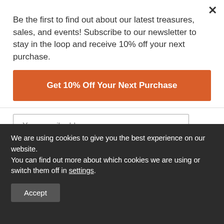×
Be the first to find out about our latest treasures, sales, and events! Subscribe to our newsletter to stay in the loop and receive 10% off your next purchase.
Get 10% Off Your Next Purchase
Your email address
Subscribe
STAY IN TOUCH
We are using cookies to give you the best experience on our website.
You can find out more about which cookies we are using or switch them off in settings.
Accept